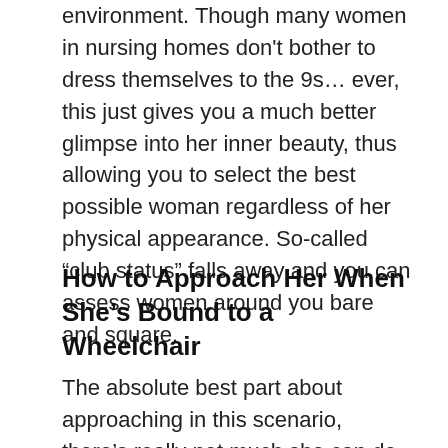environment. Though many women in nursing homes don't bother to dress themselves to the 9s… ever, this just gives you a much better glimpse into her inner beauty, thus allowing you to select the best possible woman regardless of her physical appearance. So-called “club status” falls away and you can assess women around you bare and square.
How to Approach Her When She’s Bound to a Wheelchair
The absolute best part about approaching in this scenario, there’s really not much she can do, as she absolutely has to acknowledge your